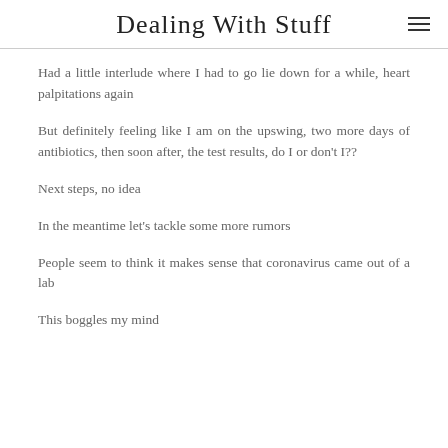Dealing With Stuff
Had a little interlude where I had to go lie down for a while, heart palpitations again
But definitely feeling like I am on the upswing, two more days of antibiotics, then soon after, the test results, do I or don't I??
Next steps, no idea
In the meantime let’s tackle some more rumors
People seem to think it makes sense that coronavirus came out of a lab
This boggles my mind